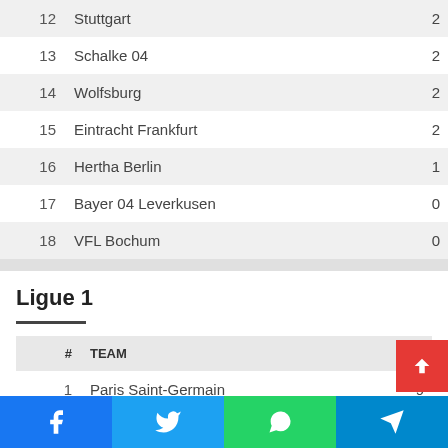| # | TEAM | P |
| --- | --- | --- |
| 12 | Stuttgart | 2 |
| 13 | Schalke 04 | 2 |
| 14 | Wolfsburg | 2 |
| 15 | Eintracht Frankfurt | 2 |
| 16 | Hertha Berlin | 1 |
| 17 | Bayer 04 Leverkusen | 0 |
| 18 | VFL Bochum | 0 |
Ligue 1
| # | TEAM | P |
| --- | --- | --- |
| 1 | Paris Saint-Germain | 9 |
| 2 | Lens | 7 |
| 3 | Marseille |  |